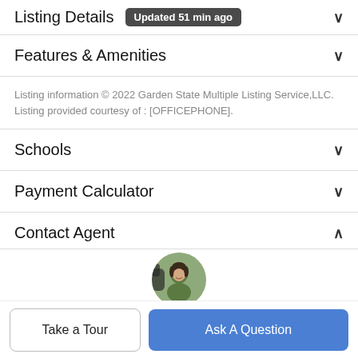Listing Details Updated 51 min ago
Features & Amenities
Listing information © 2022 Garden State Multiple Listing Service,LLC. Listing provided courtesy of : [OFFICEPHONE].
Schools
Payment Calculator
Contact Agent
[Figure (photo): Circular profile photo of a real estate agent]
Take a Tour
Ask A Question